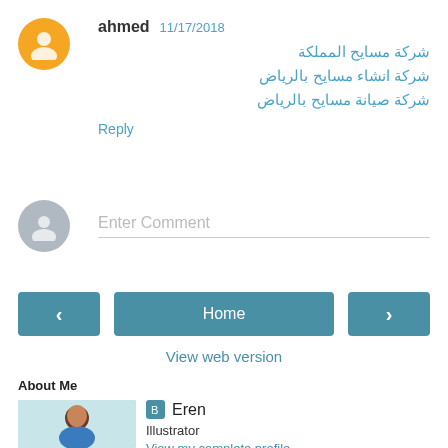ahmed  11/17/2018
شركة مسايح المملكة
شركة انشاء مسايح بالرياض
شركة صيانة مسايح بالرياض
Reply
Enter Comment
< Home >
View web version
About Me
Eren
Illustrator
View my complete profile